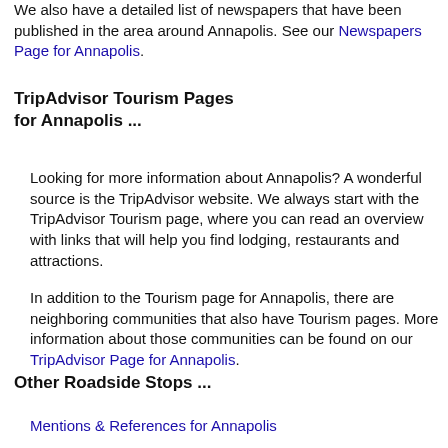We also have a detailed list of newspapers that have been published in the area around Annapolis. See our Newspapers Page for Annapolis.
TripAdvisor Tourism Pages for Annapolis ...
Looking for more information about Annapolis? A wonderful source is the TripAdvisor website. We always start with the TripAdvisor Tourism page, where you can read an overview with links that will help you find lodging, restaurants and attractions.
In addition to the Tourism page for Annapolis, there are neighboring communities that also have Tourism pages. More information about those communities can be found on our TripAdvisor Page for Annapolis.
Other Roadside Stops ...
Mentions & References for Annapolis